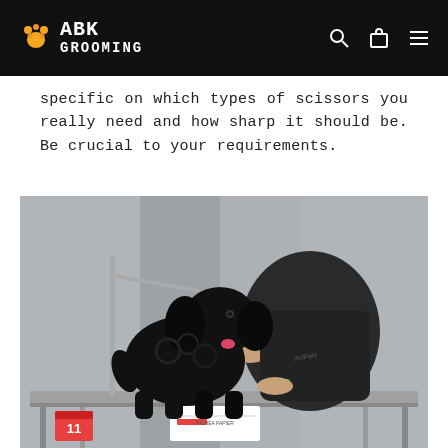ABK GROOMING
specific on which types of scissors you really need and how sharp it should be. Be crucial to your requirements.
[Figure (photo): A groomer in a dark uniform leans over a black curly-coated dog standing on a grooming table at a competition. A grooming arm with a leash is attached to the table. A number card '11' is visible at the front of the table.]